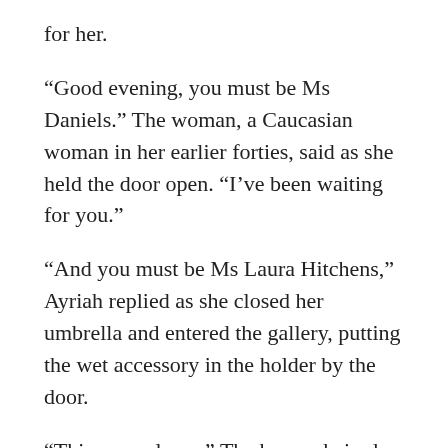for her.
“Good evening, you must be Ms Daniels.” The woman, a Caucasian woman in her earlier forties, said as she held the door open. “I’ve been waiting for you.”
“And you must be Ms Laura Hitchens,” Ayriah replied as she closed her umbrella and entered the gallery, putting the wet accessory in the holder by the door.
“This way, please.” The brown-haired woman said as by way of a response, leading the way further into the gallery.
Ariyah glanced about her as she followed her new potential client. The gallery was